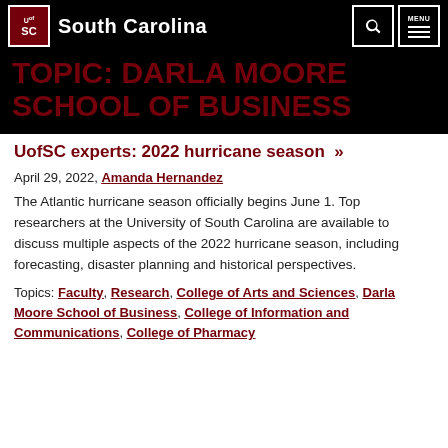UofSC South Carolina
TOPIC: DARLA MOORE SCHOOL OF BUSINESS
UofSC experts: 2022 hurricane season »
April 29, 2022, Amanda Hernandez
The Atlantic hurricane season officially begins June 1. Top researchers at the University of South Carolina are available to discuss multiple aspects of the 2022 hurricane season, including forecasting, disaster planning and historical perspectives.
Topics: Faculty, Research, College of Arts and Sciences, Darla Moore School of Business, College of Information and Communications, College of Pharmacy